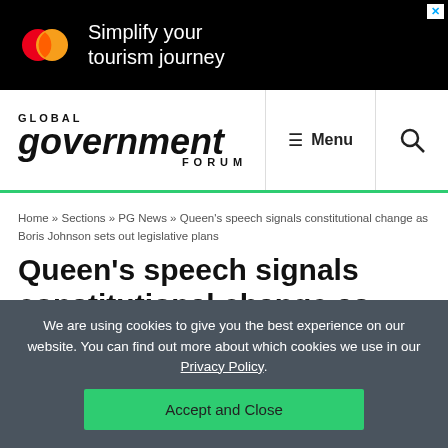[Figure (other): Mastercard advertisement banner: black background with Mastercard logo and text 'Simplify your tourism journey']
Global Government Forum — Menu [search icon]
Home » Sections » PG News » Queen's speech signals constitutional change as Boris Johnson sets out legislative plans
Queen's speech signals constitutional change as Boris Johnson sets out legislative plans
We are using cookies to give you the best experience on our website. You can find out more about which cookies we use in our Privacy Policy.